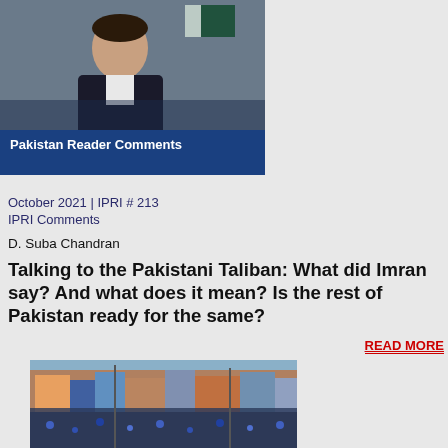[Figure (photo): Photo of Imran Khan seated, wearing a dark vest over white shirt, with Pakistan flag visible in background. Blue banner overlay reads 'Pakistan Reader Comments'.]
October 2021 | IPRI # 213
IPRI Comments
D. Suba Chandran
Talking to the Pakistani Taliban: What did Imran say? And what does it mean? Is the rest of Pakistan ready for the same?
READ MORE
[Figure (photo): Aerial photo of a massive crowd gathered in a Pakistani city street, with colorful buildings and utility poles visible.]